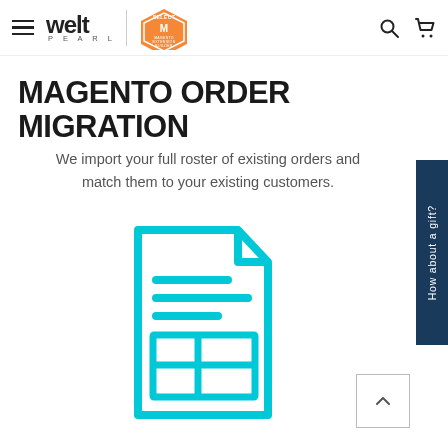welt PEARL | Magento Extension Builder — navigation header
MAGENTO ORDER MIGRATION
We import your full roster of existing orders and match them to your existing customers.
[Figure (illustration): Teal/cyan outline icon of a document/spreadsheet file with lines and a table grid inside]